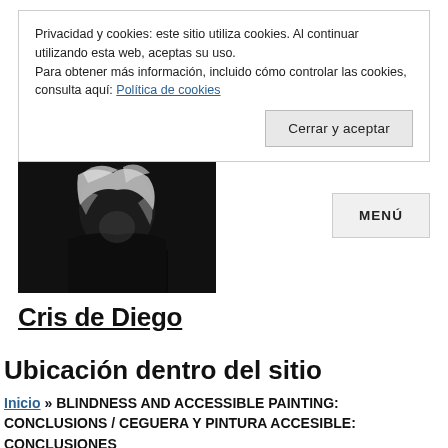Privacidad y cookies: este sitio utiliza cookies. Al continuar utilizando esta web, aceptas su uso.
Para obtener más información, incluido cómo controlar las cookies, consulta aquí: Política de cookies
Cerrar y aceptar
[Figure (photo): Black and white photo of a person with light hair against a dark background]
MENÚ
Cris de Diego
Ubicación dentro del sitio
Inicio » BLINDNESS AND ACCESSIBLE PAINTING: CONCLUSIONS / CEGUERA Y PINTURA ACCESIBLE: CONCLUSIONES